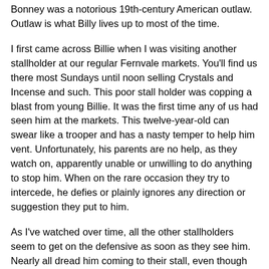Bonney was a notorious 19th-century American outlaw. Outlaw is what Billy lives up to most of the time.
I first came across Billie when I was visiting another stallholder at our regular Fernvale markets. You'll find us there most Sundays until noon selling Crystals and Incense and such. This poor stall holder was copping a blast from young Billie. It was the first time any of us had seen him at the markets. This twelve-year-old can swear like a trooper and has a nasty temper to help him vent. Unfortunately, his parents are no help, as they watch on, apparently unable or unwilling to do anything to stop him. When on the rare occasion they try to intercede, he defies or plainly ignores any direction or suggestion they put to him.
As I've watched over time, all the other stallholders seem to get on the defensive as soon as they see him. Nearly all dread him coming to their stall, even though he always has plenty to spend. Over time we have come to notice that Billy has a deep-seated distrust of people.